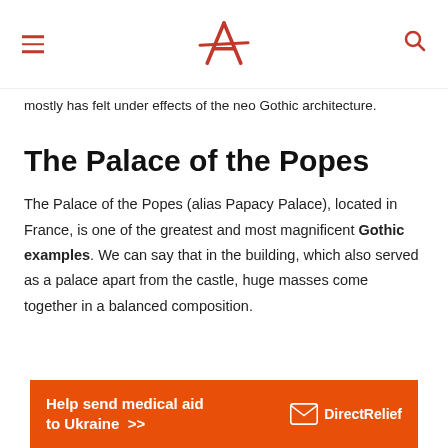[Logo] [Hamburger menu] [Search icon]
mostly has felt under effects of the neo Gothic architecture.
The Palace of the Popes
The Palace of the Popes (alias Papacy Palace), located in France, is one of the greatest and most magnificent Gothic examples. We can say that in the building, which also served as a palace apart from the castle, huge masses come together in a balanced composition.
[Figure (infographic): Orange advertisement banner: 'Help send medical aid to Ukraine >>' with Direct Relief logo on right]